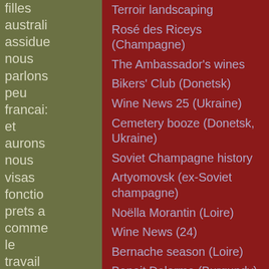filles australi assidue nous parlons peu francai: et aurons nous visas fonctio prets a comme le travail en julliet. Nous
Terroir landscaping
Rosé des Riceys (Champagne)
The Ambassador's wines
Bikers' Club (Donetsk)
Wine News 25 (Ukraine)
Cemetery booze (Donetsk, Ukraine)
Soviet Champagne history
Artyomovsk (ex-Soviet champagne)
Noëlla Morantin (Loire)
Wine News (24)
Bernache season (Loire)
Benoit Delorme (Burgundy)
Domaine Saladin (Rhone)